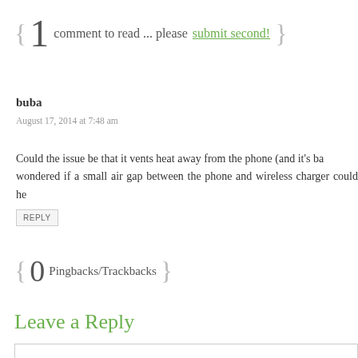{ 1 comment to read ... please submit second! }
buba
August 17, 2014 at 7:48 am
Could the issue be that it vents heat away from the phone (and it's ba wondered if a small air gap between the phone and wireless charger could he
REPLY
{ 0 Pingbacks/Trackbacks }
Leave a Reply